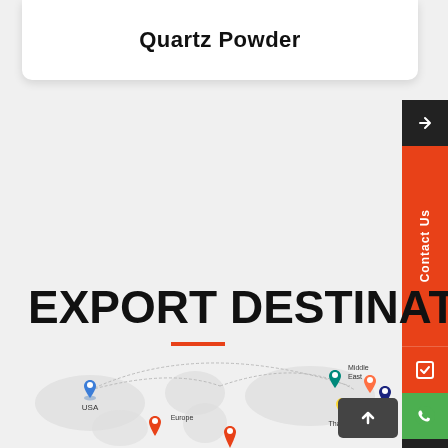Quartz Powder
EXPORT DESTINATIONS
[Figure (map): World map showing export destinations including USA, Europe, Middle East, South Korea, Japan, Thailand with colored location pins and connecting arcs]